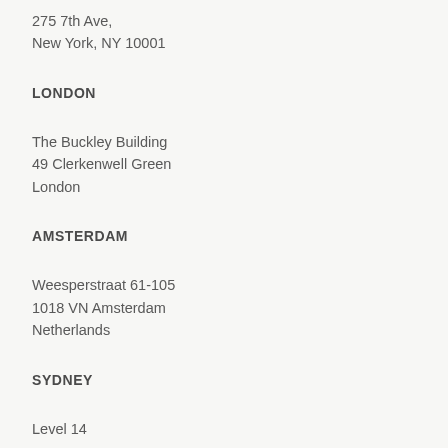275 7th Ave,
New York, NY 10001
LONDON
The Buckley Building
49 Clerkenwell Green
London
AMSTERDAM
Weesperstraat 61-105
1018 VN Amsterdam
Netherlands
SYDNEY
Level 14